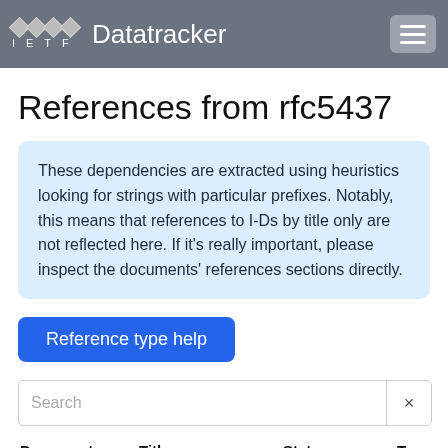IETF Datatracker
References from rfc5437
These dependencies are extracted using heuristics looking for strings with particular prefixes. Notably, this means that references to I-Ds by title only are not reflected here. If it's really important, please inspect the documents' references sections directly.
Reference type help
| Document | Title | Status | Type |
| --- | --- | --- | --- |
| RFC 4.1 | Keywords for... | Best Current... |  |